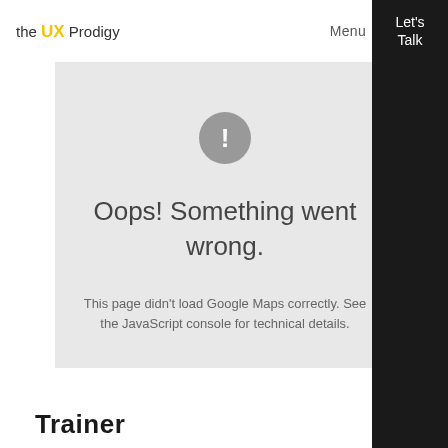the UX Prodigy
Menu
Let's Talk
[Figure (screenshot): Google Maps error card on grey background with exclamation icon, error title, and description text]
Oops! Something went wrong.
This page didn't load Google Maps correctly. See the JavaScript console for technical details.
Trainer